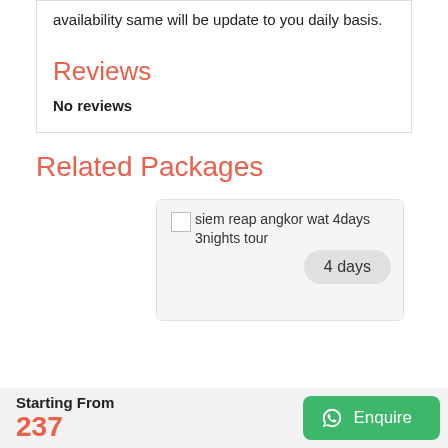availability same will be update to you daily basis.
Reviews
No reviews
Related Packages
[Figure (photo): Broken image placeholder for siem reap angkor wat 4days 3nights tour with a '4 days' badge]
Starting From 237